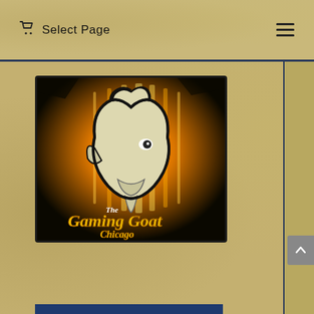Select Page
[Figure (logo): The Gaming Goat Chicago logo: a stylized goat head silhouette in black outline with gold/white fill against an orange-gold radiant background with dramatic lighting. Text reads 'The Gaming Goat Chicago' in gold lettering at the bottom.]